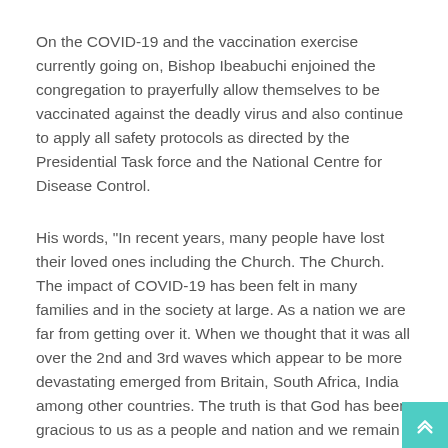On the COVID-19 and the vaccination exercise currently going on, Bishop Ibeabuchi enjoined the congregation to prayerfully allow themselves to be vaccinated against the deadly virus and also continue to apply all safety protocols as directed by the Presidential Task force and the National Centre for Disease Control.
His words, "In recent years, many people have lost their loved ones including the Church. The Church. The impact of COVID-19 has been felt in many families and in the society at large. As a nation we are far from getting over it. When we thought that it was all over the 2nd and 3rd waves which appear to be more devastating emerged from Britain, South Africa, India among other countries. The truth is that God has been gracious to us as a people and nation and we remain grateful to Him.
"We can only do the work of God when we are alive. One of the